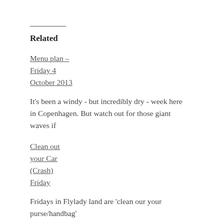Related
Menu plan – Friday 4 October 2013
It's been a windy - but incredibly dry - week here in Copenhagen. But watch out for those giant waves if
Clean out your Car (Crash) Friday
Fridays in Flylady land are 'clean our your purse/handbag'